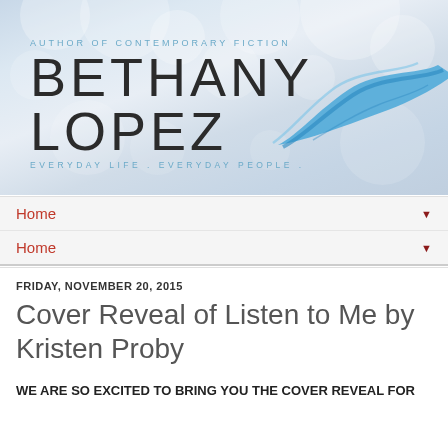[Figure (logo): Bethany Lopez author website banner with bokeh background. Text reads: AUTHOR OF CONTEMPORARY FICTION / BETHANY LOPEZ / EVERYDAY LIFE. EVERYDAY PEOPLE. A blue swoosh watercolor brush stroke appears on the right side.]
Home ▼
Home ▼
FRIDAY, NOVEMBER 20, 2015
Cover Reveal of Listen to Me by Kristen Proby
WE ARE SO EXCITED TO BRING YOU THE COVER REVEAL FOR